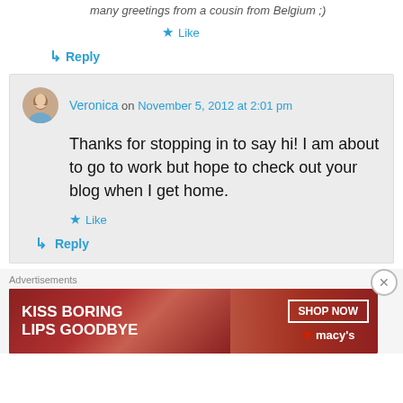many greetings from a cousin from Belgium ;)
★ Like
↳ Reply
Veronica on November 5, 2012 at 2:01 pm
Thanks for stopping in to say hi! I am about to go to work but hope to check out your blog when I get home.
★ Like
↳ Reply
Advertisements
[Figure (illustration): Macy's ad banner: 'KISS BORING LIPS GOODBYE' with red lipstick photo and SHOP NOW button with Macy's logo]